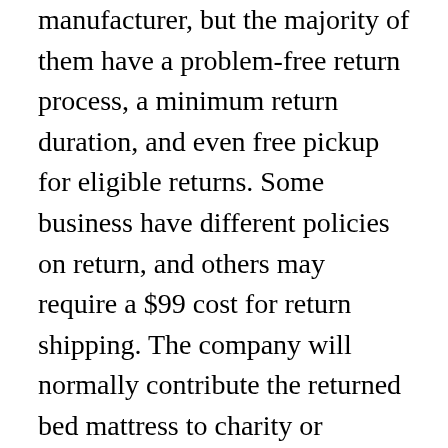manufacturer, but the majority of them have a problem-free return process, a minimum return duration, and even free pickup for eligible returns. Some business have different policies on return, and others may require a $99 cost for return shipping. The company will normally contribute the returned bed mattress to charity or recycle it.
The trial duration of a bed mattress will provide you the opportunity to try the bed mattress for several nights or months prior to you purchase it. The trial duration will